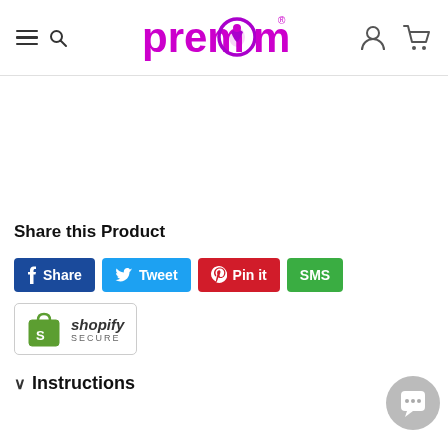premom — navigation header with hamburger menu, search, logo, user icon, cart icon
Share this Product
[Figure (other): Social share buttons: Facebook Share (blue), Twitter Tweet (light blue), Pinterest Pin it (red), SMS (green); Shopify Secure badge]
Instructions